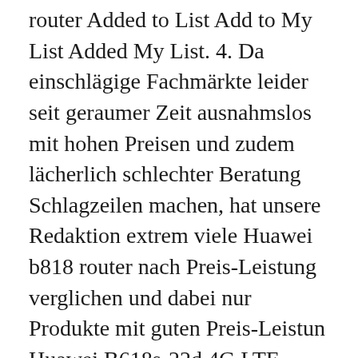router Added to List Add to My List Added My List. 4. Da einschlägige Fachmärkte leider seit geraumer Zeit ausnahmslos mit hohen Preisen und zudem lächerlich schlechter Beratung Schlagzeilen machen, hat unsere Redaktion extrem viele Huawei b818 router nach Preis-Leistung verglichen und dabei nur Produkte mit guten Preis-Leistun Huawei B618s-22d 4G LTE Router Highlight Features and Specifications, 7. Quick View; Add to Wishlist D-Link 3G HSPA+ Mobile Router ... This is Huawei's latest and greatest 4G router. Dab Tech & Electronics. And how to connect to Huawei B618 WiFi network and download Huawei Hilink APP for Huawei LTE CPE B618. The Samsung A5 2017 OpenBox is the phone